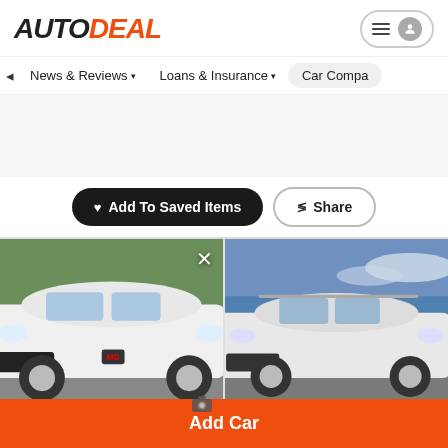AUTODEAL
News & Reviews · Loans & Insurance · Car Compa
♥ Add To Saved Items   < Share
[Figure (photo): White MG HS SUV parked on a road with green foliage in background; car comparison slot with X close button]
[Figure (photo): White MG ZS / ZX SUV parked with dramatic sky background; car comparison slot]
Add Car